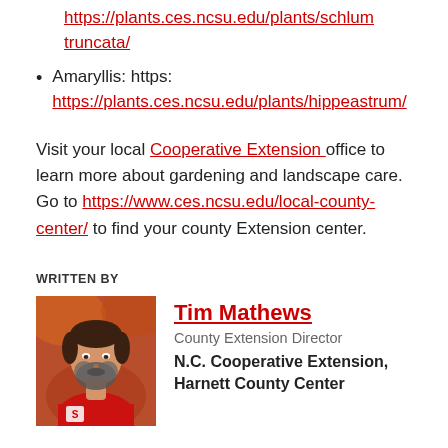Cactus: https://plants.ces.ncsu.edu/plants/schlum truncata/
Amaryllis: https: https://plants.ces.ncsu.edu/plants/hippeastrum/
Visit your local Cooperative Extension office to learn more about gardening and landscape care. Go to https://www.ces.ncsu.edu/local-county-center/ to find your county Extension center.
WRITTEN BY
[Figure (photo): Headshot photo of Tim Mathews, a man with a beard wearing a red shirt, outdoors with a blurred background.]
Tim Mathews
County Extension Director
N.C. Cooperative Extension, Harnett County Center